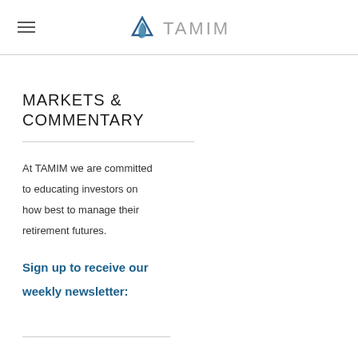TAMIM
MARKETS & COMMENTARY
At TAMIM we are committed to educating investors on how best to manage their retirement futures.
Sign up to receive our weekly newsletter: